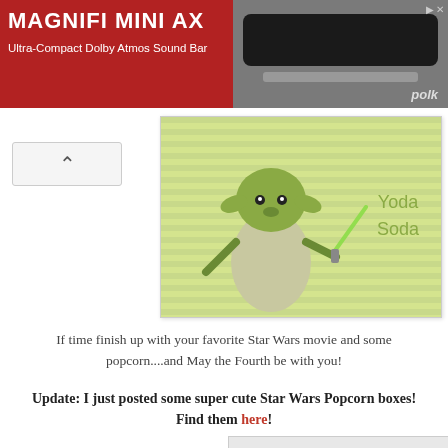[Figure (photo): Advertisement banner for MAGNIFI MINI AX Ultra-Compact Dolby Atmos Sound Bar by Polk, showing speaker image on dark background with red brand box]
[Figure (illustration): Yoda Soda label card with green striped background showing cartoon Yoda with lightsaber and text 'Yoda Soda']
If time finish up with your favorite Star Wars movie and some popcorn....and May the Fourth be with you!
Update: I just posted some super cute Star Wars Popcorn boxes!  Find them here!
[Figure (photo): Photo of two Star Wars themed popcorn boxes - one with Yoda design and one with BB-8 design, with a cartoon Luke Skywalker character at the bottom right]